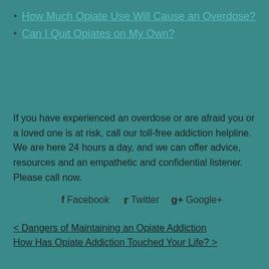How Much Opiate Use Will Cause an Overdose?
Can I Quit Opiates on My Own?
If you have experienced an overdose or are afraid you or a loved one is at risk, call our toll-free addiction helpline. We are here 24 hours a day, and we can offer advice, resources and an empathetic and confidential listener. Please call now.
f Facebook  Twitter  g+ Google+
< Dangers of Maintaining an Opiate Addiction
How Has Opiate Addiction Touched Your Life? >